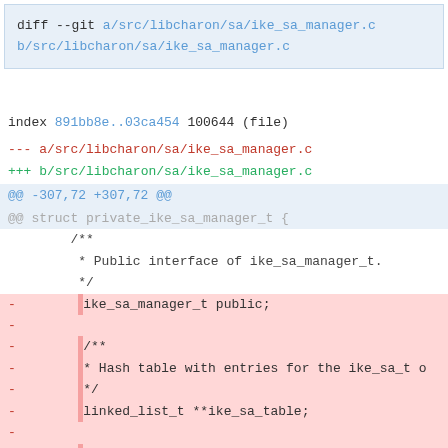diff --git a/src/libcharon/sa/ike_sa_manager.c b/src/libcharon/sa/ike_sa_manager.c
index 891bb8e..03ca454 100644 (file)
--- a/src/libcharon/sa/ike_sa_manager.c
+++ b/src/libcharon/sa/ike_sa_manager.c
@@ -307,72 +307,72 @@
@@ struct private_ike_sa_manager_t {
/**
         * Public interface of ike_sa_manager_t.
         */
-        ike_sa_manager_t public;
-
-        /**
-        * Hash table with entries for the ike_sa_t o
-        */
-        linked_list_t **ike_sa_table;
-
-        /**
-        * The size of the hash table.
-        */